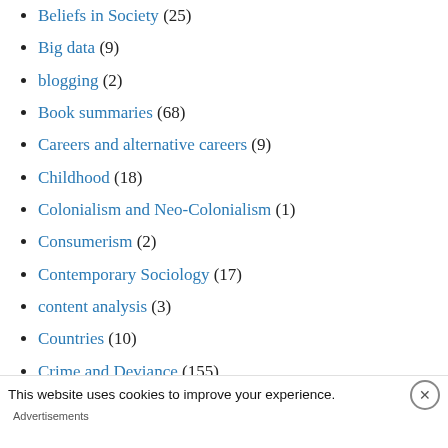Beliefs in Society (25)
Big data (9)
blogging (2)
Book summaries (68)
Careers and alternative careers (9)
Childhood (18)
Colonialism and Neo-Colonialism (1)
Consumerism (2)
Contemporary Sociology (17)
content analysis (3)
Countries (10)
Crime and Deviance (155)
This website uses cookies to improve your experience.
Advertisements
Help send medical aid to Ukraine >> DirectRelief